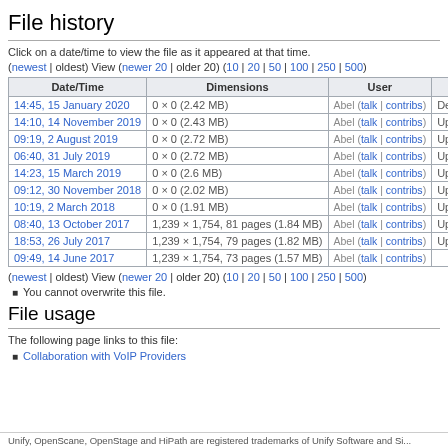File history
Click on a date/time to view the file as it appeared at that time.
(newest | oldest) View (newer 20 | older 20) (10 | 20 | 50 | 100 | 250 | 500)
| Date/Time | Dimensions | User |  |
| --- | --- | --- | --- |
| 14:45, 15 January 2020 | 0 × 0 (2.42 MB) | Abel (talk | contribs) | De... |
| 14:10, 14 November 2019 | 0 × 0 (2.43 MB) | Abel (talk | contribs) | Up... |
| 09:19, 2 August 2019 | 0 × 0 (2.72 MB) | Abel (talk | contribs) | Up... |
| 06:40, 31 July 2019 | 0 × 0 (2.72 MB) | Abel (talk | contribs) | Up... |
| 14:23, 15 March 2019 | 0 × 0 (2.6 MB) | Abel (talk | contribs) | Up... |
| 09:12, 30 November 2018 | 0 × 0 (2.02 MB) | Abel (talk | contribs) | Up... |
| 10:19, 2 March 2018 | 0 × 0 (1.91 MB) | Abel (talk | contribs) | Up... |
| 08:40, 13 October 2017 | 1,239 × 1,754, 81 pages (1.84 MB) | Abel (talk | contribs) | Up... |
| 18:53, 26 July 2017 | 1,239 × 1,754, 79 pages (1.82 MB) | Abel (talk | contribs) | Up... |
| 09:49, 14 June 2017 | 1,239 × 1,754, 73 pages (1.57 MB) | Abel (talk | contribs) |  |
(newest | oldest) View (newer 20 | older 20) (10 | 20 | 50 | 100 | 250 | 500)
You cannot overwrite this file.
File usage
The following page links to this file:
Collaboration with VoIP Providers
Unify, OpenScane, OpenStage and HiPath are registered trademarks of Unify Software and Si...